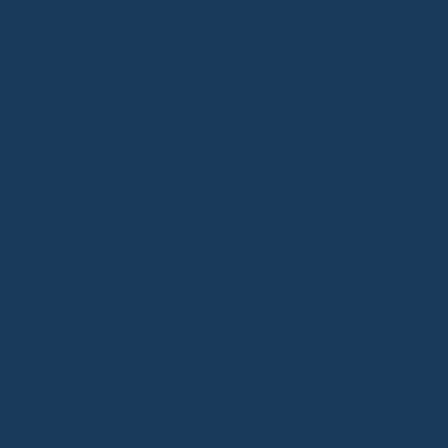[Figure (other): Dark blue background panel on the left side of the page]
replica watches
ray ban wayfa...
polo ralph laur...
louis vuitton
coach outlet on...
air jordans
ray ban outlet
coach outlet
tory burch outl...
jordan shoes
oakley vault
3:37 AM
chenlili said...
2016-4-22 xiaob...
coach factory o...
nike air max 90...
ray ban sunglas...
ray ban wayfa...
oakley vault
nike free run
christian loubo...